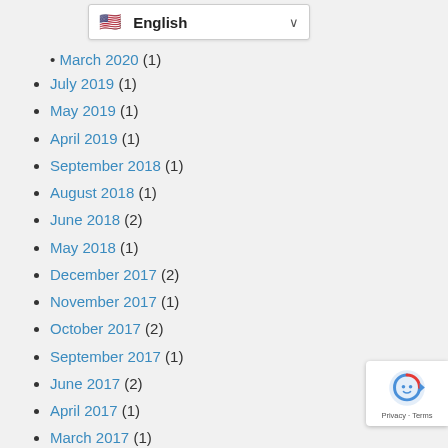English (language selector dropdown)
March 2020 (1) [partial, cut off at top]
July 2019 (1)
May 2019 (1)
April 2019 (1)
September 2018 (1)
August 2018 (1)
June 2018 (2)
May 2018 (1)
December 2017 (2)
November 2017 (1)
October 2017 (2)
September 2017 (1)
June 2017 (2)
April 2017 (1)
March 2017 (1)
February 2017 (1)
January 2017 (1)
December 2016 (1)
November 2016 (1)
September 2016 (3)
July 2016 (2) [partial, cut off at bottom]
[Figure (logo): Google reCAPTCHA badge with Privacy and Terms links]